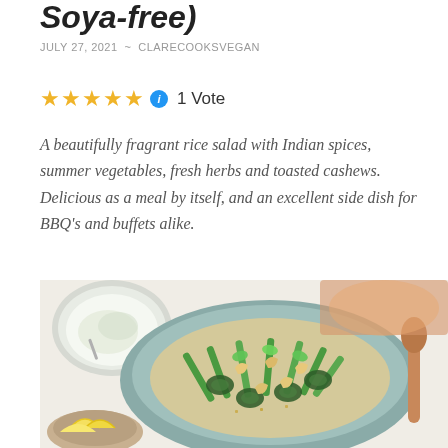Soya-free)
JULY 27, 2021 ~ CLARECOOKSVEGAN
★★★★★ ℹ 1 Vote
A beautifully fragrant rice salad with Indian spices, summer vegetables, fresh herbs and toasted cashews. Delicious as a meal by itself, and an excellent side dish for BBQ's and buffets alike.
[Figure (photo): A bowl of spiced rice salad with green beans, courgette, cashews and fresh herbs, served with a side of raita and lemon wedges, with a wooden spoon in the background.]